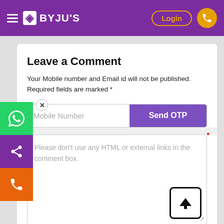BYJU'S — Login
Leave a Comment
Your Mobile number and Email id will not be published. Required fields are marked *
Mobile Number  Send OTP
Please don't use any HTML or external links in the comment box.